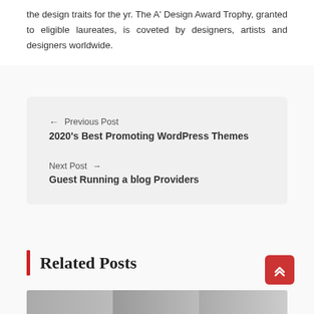the design traits for the yr. The A' Design Award Trophy, granted to eligible laureates, is coveted by designers, artists and designers worldwide.
← Previous Post
2020's Best Promoting WordPress Themes
Next Post →
Guest Running a blog Providers
Related Posts